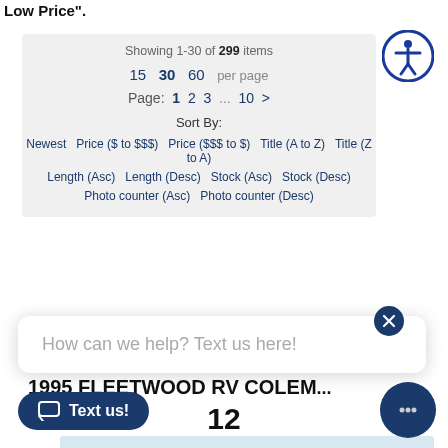Low Price".
Showing 1-30 of 299 items
15  30  60  per page
Page: 1  2  3  ...  10  >
Sort By:
Newest  Price ($ to $$$)  Price ($$$ to $)  Title (A to Z)  Title (Z to A)
Length (Asc)  Length (Desc)  Stock (Asc)  Stock (Desc)
Photo counter (Asc)  Photo counter (Desc)
How can we help? Text us here!
1995 FLEETWOOD RV COLEM...
12